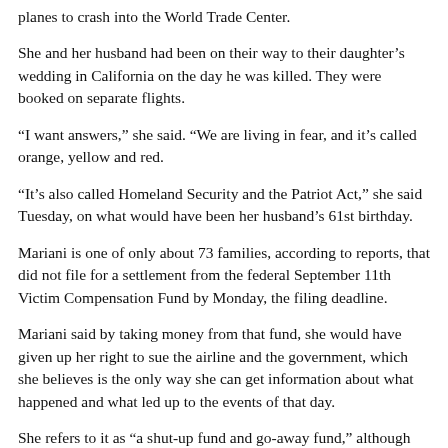planes to crash into the World Trade Center.
She and her husband had been on their way to their daughter’s wedding in California on the day he was killed. They were booked on separate flights.
“I want answers,” she said. “We are living in fear, and it’s called orange, yellow and red.
“It’s also called Homeland Security and the Patriot Act,” she said Tuesday, on what would have been her husband’s 61st birthday.
Mariani is one of only about 73 families, according to reports, that did not file for a settlement from the federal September 11th Victim Compensation Fund by Monday, the filing deadline.
Mariani said by taking money from that fund, she would have given up her right to sue the airline and the government, which she believes is the only way she can get information about what happened and what led up to the events of that day.
She refers to it as “a shut-up fund and go-away fund,” although Mariani believes she might have received somewhere around $500,000 in compensation for her husband’s life if she had taken the federal